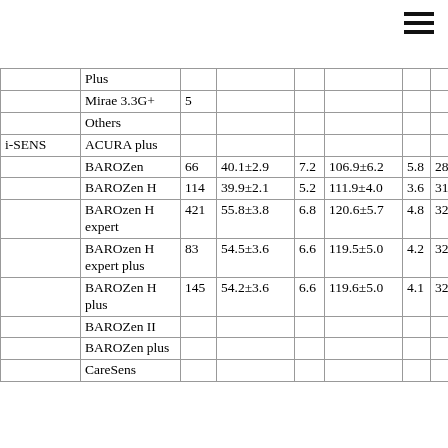|  | Plus |  |  |  |  |  |  |
|  | Mirae 3.3G+ | 5 |  |  |  |  |  |
|  | Others |  |  |  |  |  |  |
| i-SENS | ACURA plus |  |  |  |  |  |  |
|  | BAROZen | 66 | 40.1±2.9 | 7.2 | 106.9±6.2 | 5.8 | 28 |
|  | BAROZen H | 114 | 39.9±2.1 | 5.2 | 111.9±4.0 | 3.6 | 31 |
|  | BAROzen H expert | 421 | 55.8±3.8 | 6.8 | 120.6±5.7 | 4.8 | 32 |
|  | BAROzen H expert plus | 83 | 54.5±3.6 | 6.6 | 119.5±5.0 | 4.2 | 32 |
|  | BAROZen H plus | 145 | 54.2±3.6 | 6.6 | 119.6±5.0 | 4.1 | 32 |
|  | BAROZen II |  |  |  |  |  |  |
|  | BAROZen plus |  |  |  |  |  |  |
|  | CareSens |  |  |  |  |  |  |